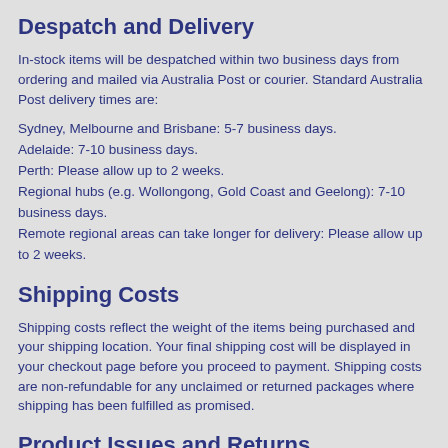Despatch and Delivery
In-stock items will be despatched within two business days from ordering and mailed via Australia Post or courier. Standard Australia Post delivery times are:
Sydney, Melbourne and Brisbane: 5-7 business days.
Adelaide: 7-10 business days.
Perth: Please allow up to 2 weeks.
Regional hubs (e.g. Wollongong, Gold Coast and Geelong): 7-10 business days.
Remote regional areas can take longer for delivery: Please allow up to 2 weeks.
Shipping Costs
Shipping costs reflect the weight of the items being purchased and your shipping location. Your final shipping cost will be displayed in your checkout page before you proceed to payment. Shipping costs are non-refundable for any unclaimed or returned packages where shipping has been fulfilled as promised.
Product Issues and Returns